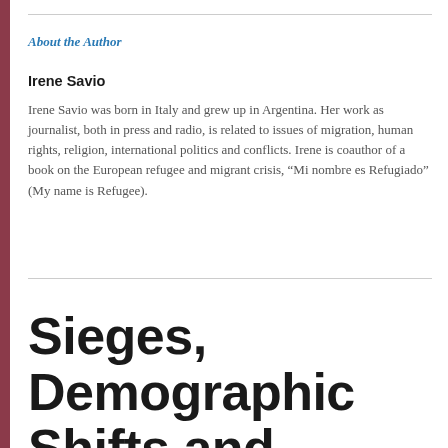About the Author
Irene Savio
Irene Savio was born in Italy and grew up in Argentina. Her work as journalist, both in press and radio, is related to issues of migration, human rights, religion, international politics and conflicts. Irene is coauthor of a book on the European refugee and migrant crisis, “Mi nombre es Refugiado” (My name is Refugee).
Sieges, Demographic Shifts and